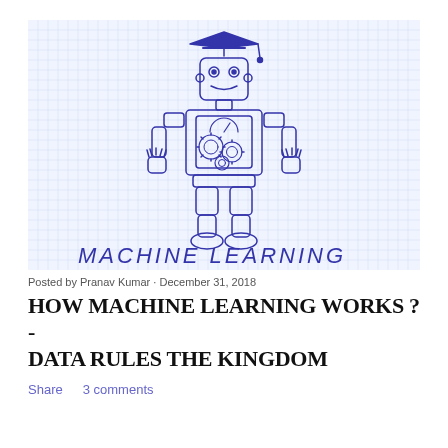[Figure (illustration): Hand-drawn sketch of a robot wearing a graduation cap, with gears visible in its chest panel. The background is grid paper. Text at the bottom reads 'MACHINE LEARNING' in a hand-drawn blue font.]
Posted by Pranav Kumar · December 31, 2018
HOW MACHINE LEARNING WORKS ? - DATA RULES THE KINGDOM
Share    3 comments